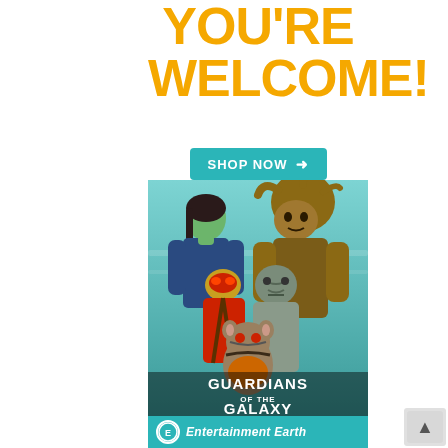YOU'RE WELCOME!
[Figure (illustration): Shop Now button with teal background and arrow]
[Figure (photo): Guardians of the Galaxy action figures: Gamora, Star-Lord, Groot, Drax, and Rocket Raccoon posed together with Guardians of the Galaxy logo overlay on teal background]
[Figure (logo): Entertainment Earth logo bar in teal with circular EE logo and italic white text Entertainment Earth]